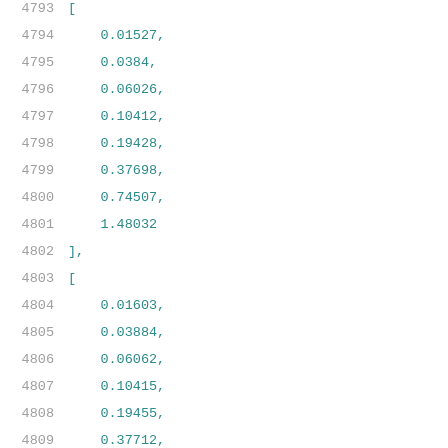4793  [
4794      0.01527,
4795      0.0384,
4796      0.06026,
4797      0.10412,
4798      0.19428,
4799      0.37698,
4800      0.74507,
4801      1.48032
4802  ],
4803  [
4804      0.01603,
4805      0.03884,
4806      0.06062,
4807      0.10415,
4808      0.19455,
4809      0.37712,
4810      0.74481,
4811      1.4813
4812  ],
4813  [
4814      0.01732,